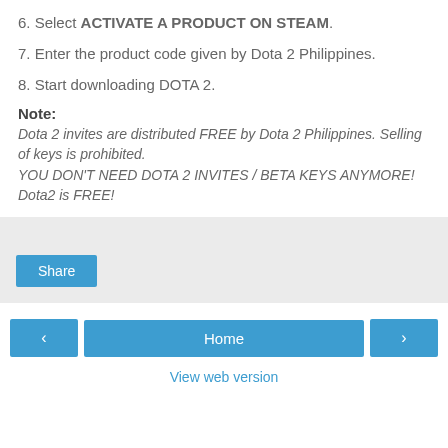6. Select ACTIVATE A PRODUCT ON STEAM.
7. Enter the product code given by Dota 2 Philippines.
8. Start downloading DOTA 2.
Note:
Dota 2 invites are distributed FREE by Dota 2 Philippines. Selling of keys is prohibited. YOU DON'T NEED DOTA 2 INVITES / BETA KEYS ANYMORE! Dota2 is FREE!
[Figure (other): Share button area with light gray background]
< Home > View web version